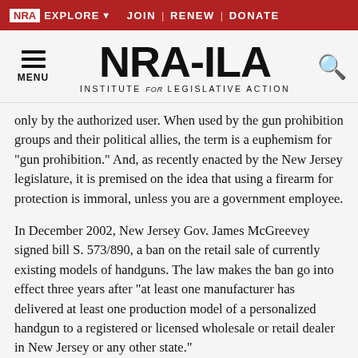NRA EXPLORE  JOIN | RENEW | DONATE
[Figure (logo): NRA-ILA Institute for Legislative Action logo with menu icon and search icon]
only by the authorized user. When used by the gun prohibition groups and their political allies, the term is a euphemism for "gun prohibition." And, as recently enacted by the New Jersey legislature, it is premised on the idea that using a firearm for protection is immoral, unless you are a government employee.
In December 2002, New Jersey Gov. James McGreevey signed bill S. 573/890, a ban on the retail sale of currently existing models of handguns. The law makes the ban go into effect three years after "at least one manufacturer has delivered at least one production model of a personalized handgun to a registered or licensed wholesale or retail dealer in New Jersey or any other state."
In other words, the availability of one model of "personalized